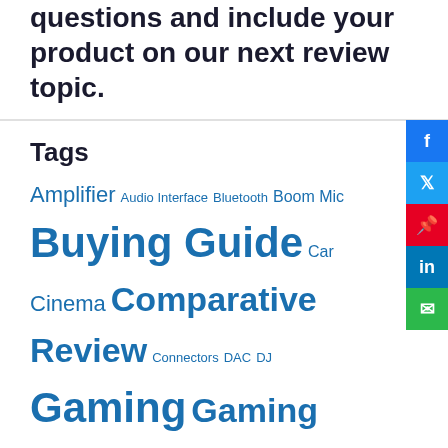We will do our best to answer all your questions and include your product on our next review topic.
Tags
Amplifier Audio Interface Bluetooth Boom Mic Buying Guide Car Cinema Comparative Review Connectors DAC DJ Gaming Gaming Headphones Headphones Holiday Home Studio Info Isolation Shields List Mic Accessories Mics Mixer Mixing Movie Noise Reduction Outdoor Speakers Pairing Podcast Pop Filter Portable Speakers Product Review